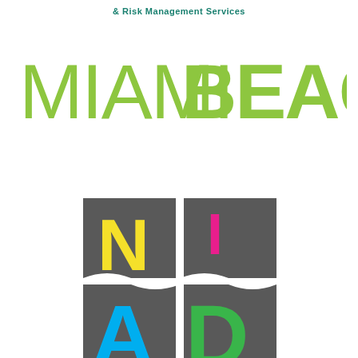& Risk Management Services
[Figure (logo): Miami Beach city logo in large lime green bold text: MIAMIBEACH]
[Figure (logo): NIAD logo composed of four dark gray squares arranged in a 2x2 grid separated by a white wavy horizontal line and a vertical gap. Top-left square has yellow letter N, top-right has magenta letter I, bottom-left has cyan letter A (partially visible), bottom-right has green letter D (partially visible).]